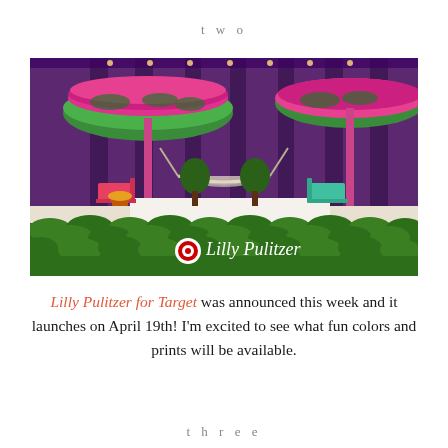two
[Figure (photo): Event display setup for Lilly Pulitzer for Target collaboration, showing colorful patterned umbrellas, hammocks, lounge chairs, tropical plants, and a hedge wall with the Target and Lilly Pulitzer logos in white script]
Lilly Pulitzer for Target was announced this week and it launches on April 19th! I'm excited to see what fun colors and prints will be available.
three